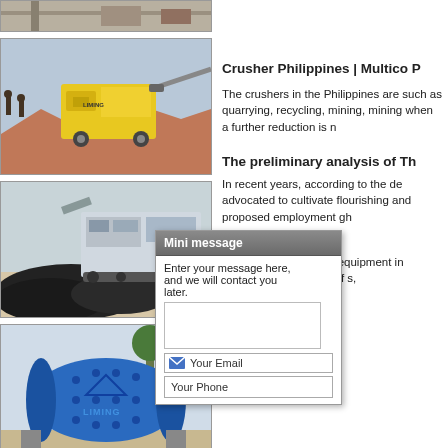[Figure (photo): Partial top photo of industrial/construction site with machinery, barely visible at top]
[Figure (photo): Yellow mobile crusher/screening machine on a quarry site with orange/red earthen mounds and a conveyor belt]
[Figure (photo): Mobile crusher and screening plant on wheels with piles of black aggregate/coal in foreground]
[Figure (photo): Large blue Liming brand ball mill on a construction site with trees in background]
Crusher Philippines | Multico P
The crushers in the Philippines are such as quarrying, recycling, mining, mining when a further reduction is n
The preliminary analysis of Th
In recent years, according to the de advocated to cultivate flourishing and proposed employment gh
Jaw Crus
In
Jaw Crush is crushing equipment in mining, build consists of s,
[Figure (screenshot): Mini message overlay popup with header 'Mini message', text area saying 'Enter your message here, and we will contact you later.', email input row with envelope icon and 'Your Email' placeholder, and phone input row with 'Your Phone' placeholder]